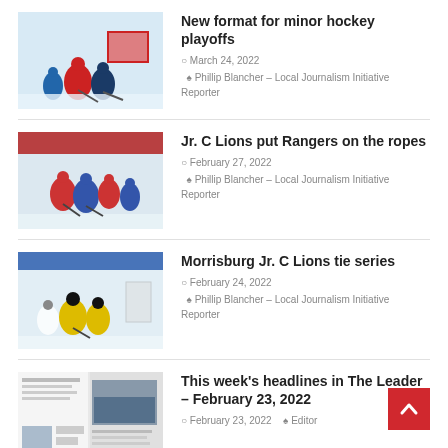[Figure (photo): Hockey game action photo showing players near a goal]
New format for minor hockey playoffs
March 24, 2022   Phillip Blancher – Local Journalism Initiative Reporter
[Figure (photo): Hockey game action photo showing players skating]
Jr. C Lions put Rangers on the ropes
February 27, 2022   Phillip Blancher – Local Journalism Initiative Reporter
[Figure (photo): Hockey game action photo showing players on ice]
Morrisburg Jr. C Lions tie series
February 24, 2022   Phillip Blancher – Local Journalism Initiative Reporter
[Figure (photo): Newspaper front page thumbnail with hockey team photo]
This week’s headlines in The Leader – February 23, 2022
February 23, 2022   Editor